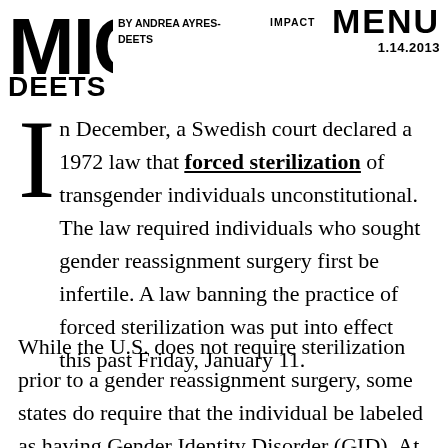MIC | BY ANDREA AYRES-DEETS | IMPACT | MENU 1.14.2013
In December, a Swedish court declared a 1972 law that forced sterilization of transgender individuals unconstitutional. The law required individuals who sought gender reassignment surgery first be infertile. A law banning the practice of forced sterilization was put into effect this past Friday, January 11.
While the U.S. does not require sterilization prior to a gender reassignment surgery, some states do require that the individual be labeled as having Gender Identity Disorder (GID). At least until July of 2012. The